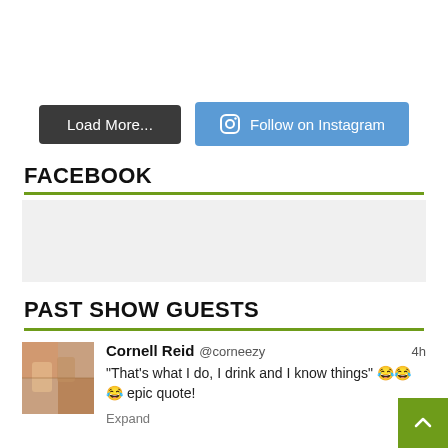[Figure (other): Two buttons: 'Load More...' (dark gray) and 'Follow on Instagram' (blue with camera icon)]
FACEBOOK
[Figure (other): Facebook widget placeholder — light gray box]
PAST SHOW GUESTS
Cornell Reid @corneezy 4h
"That's what I do, I drink and I know things" 😂😂😂 epic quote!
Expand